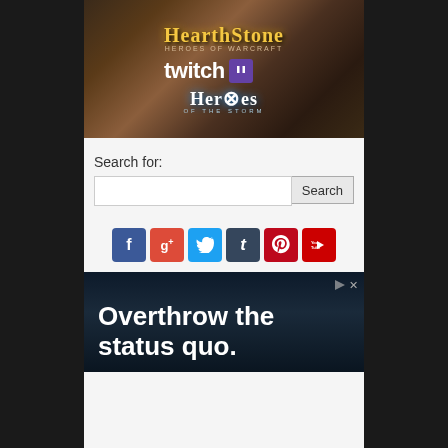[Figure (screenshot): Hearthstone Heroes of Warcraft game banner with Twitch and Heroes of the Storm logos on a dark fantasy background]
Search for:
[Figure (other): Search input box with Search button]
[Figure (other): Social media icons: Facebook, Google+, Twitter, Tumblr, Pinterest, YouTube]
[Figure (other): Advertisement banner with text: Overthrow the status quo.]